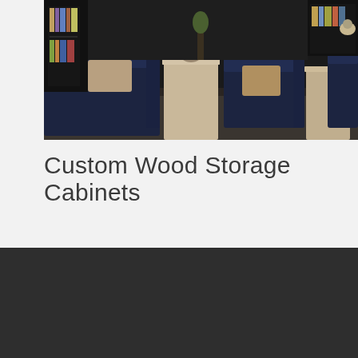[Figure (photo): Interior room with dark navy blue armchairs/sofas, beige/tan side tables and pedestals, dark shelving/wall unit in background, modern living space.]
Custom Wood Storage Cabinets
Get In Touch
(813) 835-1219